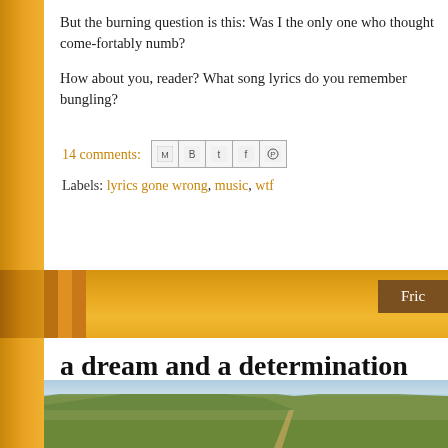But the burning question is this: Was I the only one who thought come-fortably numb?
How about you, reader? What song lyrics do you remember bungling?
14 comments:
Labels: lyrics gone wrong, music, wtf
a dream and a determination
[Figure (photo): Aerial landscape photo showing rolling hills with mesa or plateau, scrubland vegetation, a dirt road, and blue sky]